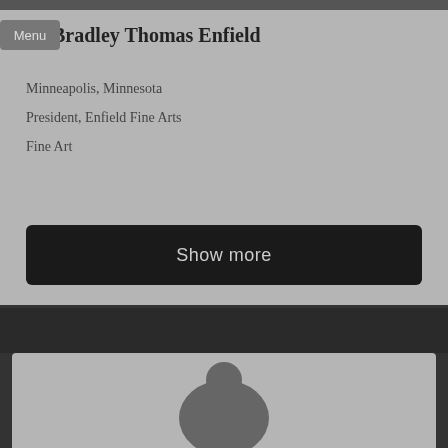Menu
Bradley Thomas Enfield
Minneapolis, Minnesota
President, Enfield Fine Arts
Fine Art
Show more
[Figure (photo): Bottom profile photo card, partially visible silhouette of a person]